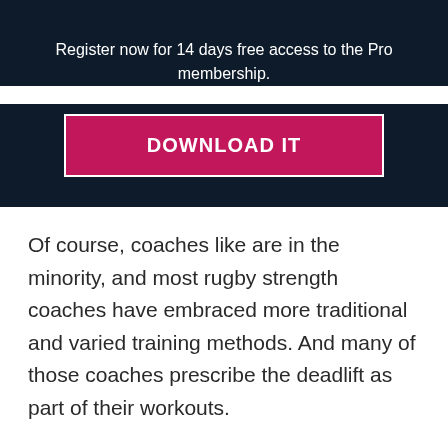Register now for 14 days free access to the Pro membership.
[Figure (other): Pink 'DOWNLOAD IT' button with white border on dark navy background]
Of course, coaches like are in the minority, and most rugby strength coaches have embraced more traditional and varied training methods. And many of those coaches prescribe the deadlift as part of their workouts.